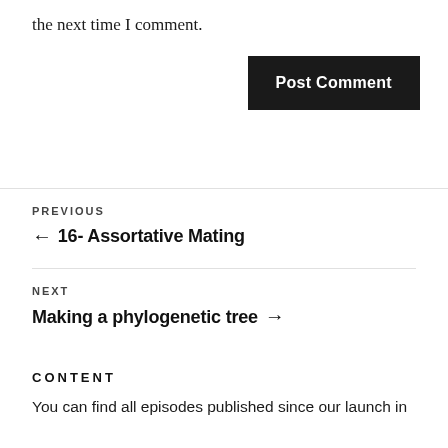the next time I comment.
Post Comment
PREVIOUS
← 16- Assortative Mating
NEXT
Making a phylogenetic tree →
CONTENT
You can find all episodes published since our launch in